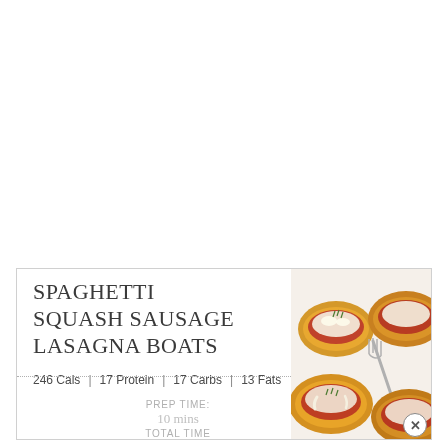SPAGHETTI SQUASH SAUSAGE LASAGNA BOATS
246 Cals | 17 Protein | 17 Carbs | 13 Fats
[Figure (photo): Photo of spaghetti squash sausage lasagna boats — yellow squash halves filled with meat sauce and melted cheese, garnished with herbs, with a fork visible]
PREP TIME:
10 mins
TOTAL TIME